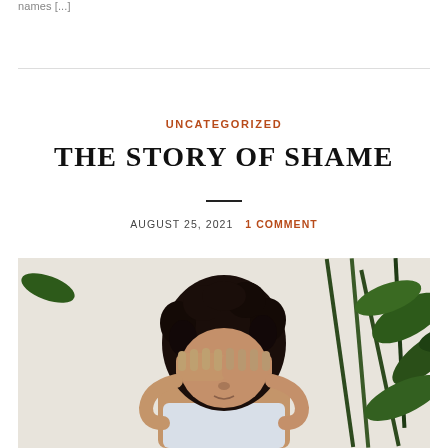names [...]
UNCATEGORIZED
THE STORY OF SHAME
AUGUST 25, 2021   1 COMMENT
[Figure (photo): A young Black woman with natural curly hair covering her eyes with both hands, standing in front of large leafy green plants against a white background.]